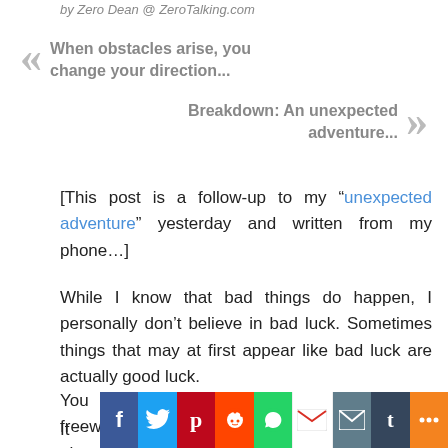by Zero Dean @ ZeroTalking.com
When obstacles arise, you change your direction...
Breakdown: An unexpected adventure...
[This post is a follow-up to my "unexpected adventure" yesterday and written from my phone...]
While I know that bad things do happen, I personally don't believe in bad luck. Sometimes things that may at first appear like bad luck are actually good luck.
You never know when breaking down on the freeway is keeping you from something worse up ahead.
It